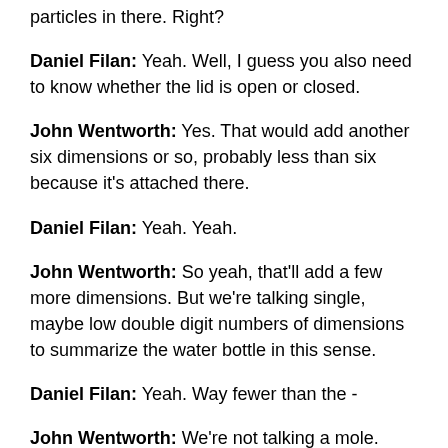particles in there. Right?
Daniel Filan: Yeah. Well, I guess you also need to know whether the lid is open or closed.
John Wentworth: Yes. That would add another six dimensions or so, probably less than six because it's attached there.
Daniel Filan: Yeah. Yeah.
John Wentworth: So yeah, that'll add a few more dimensions. But we're talking single, maybe low double digit numbers of dimensions to summarize the water bottle in this sense.
Daniel Filan: Yeah. Way fewer than the -
John Wentworth: We're not talking a mole. Definitely not a mole.
Daniel Filan: Okay, cool. So basically something like, we